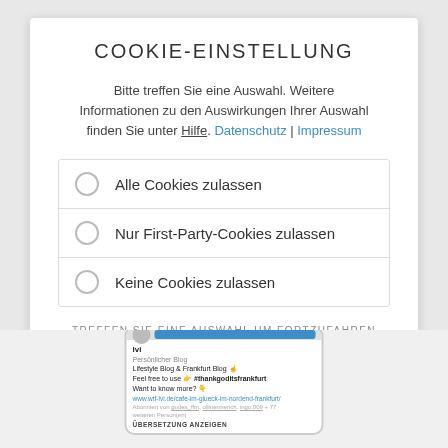COOKIE-EINSTELLUNG
Bitte treffen Sie eine Auswahl. Weitere Informationen zu den Auswirkungen Ihrer Auswahl finden Sie unter Hilfe. Datenschutz | Impressum
Alle Cookies zulassen
Nur First-Party-Cookies zulassen
Keine Cookies zulassen
TREFFEN SIE EINE AUSWAHL UM FORTZUFAHREN
WEITERE INFORMATIONEN
[Figure (screenshot): Screenshot of a mobile phone showing an Instagram-style profile page for 'lvi' - Persönlicher Blog. Shows text: Lifestyle Blog & Frankfurt Blog, Feel free to use #thankgoditsfrankfurt, Want to know more?, www.wtf-lvi.de/cafe-im-glueck-im-nordend-frankfurt/, Abonniert von gudes_ffm, ollinermerich, ingo.009 + 77 weiteren Person(en). ÜBERSETZUNG ANZEIGEN]